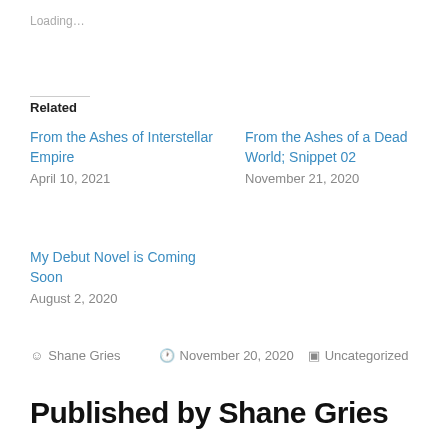Loading…
Related
From the Ashes of Interstellar Empire
April 10, 2021
From the Ashes of a Dead World; Snippet 02
November 21, 2020
My Debut Novel is Coming Soon
August 2, 2020
Shane Gries   November 20, 2020   Uncategorized
Published by Shane Gries